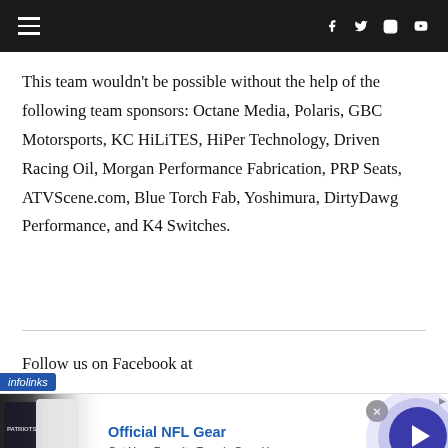Navigation bar with hamburger menu and social icons (Facebook, Twitter, Instagram, YouTube)
This team wouldn't be possible without the help of the following team sponsors: Octane Media, Polaris, GBC Motorsports, KC HiLiTES, HiPer Technology, Driven Racing Oil, Morgan Performance Fabrication, PRP Seats, ATVScene.com, Blue Torch Fab, Yoshimura, DirtyDawg Performance, and K4 Switches.
Follow us on Facebook at
[Figure (screenshot): Infolinks sponsored ad banner for Official NFL Gear showing two NFL jerseys, with text 'Official NFL Gear', 'Get Your Favorite Team's Gear Here', 'www.nflshop.com', a play button circle, and a close (X) button]